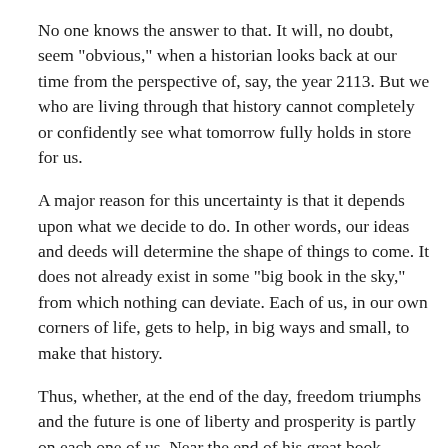No one knows the answer to that. It will, no doubt, seem "obvious," when a historian looks back at our time from the perspective of, say, the year 2113. But we who are living through that history cannot completely or confidently see what tomorrow fully holds in store for us.
A major reason for this uncertainty is that it depends upon what we decide to do. In other words, our ideas and deeds will determine the shape of things to come. It does not already exist in some "big book in the sky," from which nothing can deviate. Each of us, in our own corners of life, gets to help, in big ways and small, to make that history.
Thus, whether, at the end of the day, freedom triumphs and the future is one of liberty and prosperity is partly on each one of us. Near the end of his great book, Socialism, Ludwig von Mises said:
"Everyone carries a part of society on his shoulders; no one is relieved of his share of responsibility by others. And no one can...